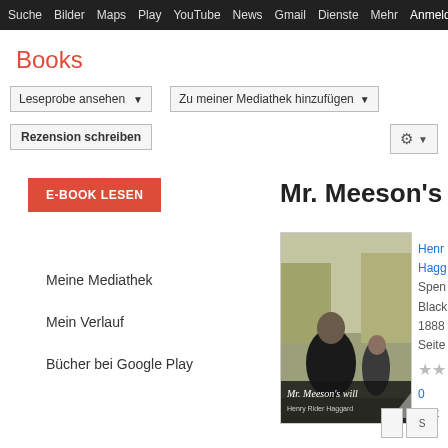Suche  Bilder  Maps  Play  YouTube  News  Gmail  Dienste  Mehr  Anmelden  ⚙
Books
Leseprobe ansehen ▾
Zu meiner Mediathek hinzufügen ▾
Rezension schreiben
E-BOOK LESEN
Mr. Meeson's W
[Figure (photo): Book cover of Mr. Meeson's will by Henry Rider Haggard, showing two men in Victorian dress, one leaning forward.]
Henry Rider Haggard
Spen...
Black...
1888
Seite...
★★
0 Rez...
Meine Mediathek
Mein Verlauf
Bücher bei Google Play